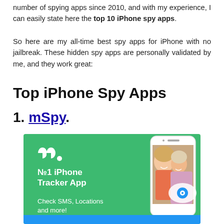number of spying apps since 2010, and with my experience, I can easily state here the top 10 iPhone spy apps.
So here are my all-time best spy apps for iPhone with no jailbreak. These hidden spy apps are personally validated by me, and they work great:
Top iPhone Spy Apps
1. mSpy.
[Figure (screenshot): mSpy advertisement banner on green background showing mSpy logo, 'No1 iPhone Tracker App', 'Check SMS, Locations and more!' text, and a phone mockup with two girls and an eye icon overlay.]